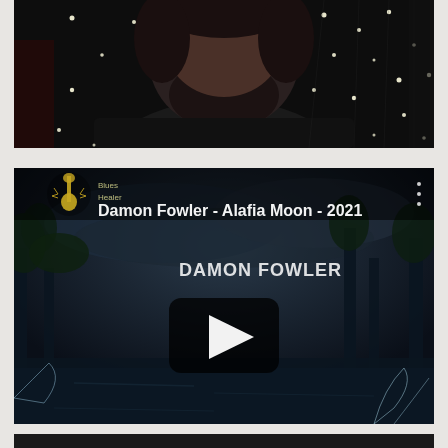[Figure (photo): Dark video thumbnail showing a man with a beard wearing a black shirt, seated in front of a dark background with small white bokeh/fairy lights scattered across it.]
[Figure (screenshot): YouTube video thumbnail for 'Damon Fowler - Alafia Moon - 2021'. Shows a dark blue-toned swamp/forest painting with the text 'DAMON FOWLER' overlaid. A YouTube play button is centered on the image. Top-left shows a guitar-shaped channel logo with 'Blues Healer' text.]